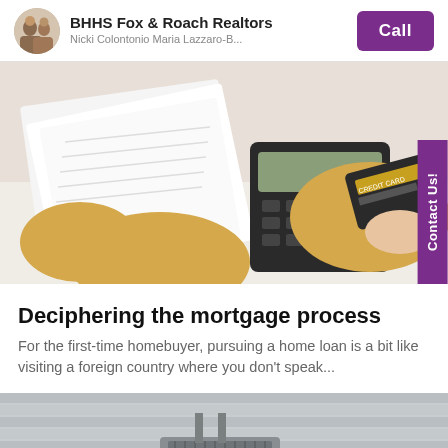BHHS Fox & Roach Realtors | Nicki Colontonio Maria Lazzaro-B... | Call
[Figure (photo): Person in yellow sweater using a calculator and holding a credit card with financial documents on a white desk]
Deciphering the mortgage process
For the first-time homebuyer, pursuing a home loan is a bit like visiting a foreign country where you don’t speak...
[Figure (photo): Exterior siding of a house with HVAC unit visible at bottom]